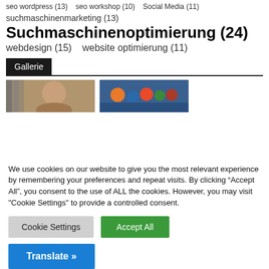seo wordpress (13)   seo workshop (10)   Social Media (11)
suchmaschinenmarketing (13)
Suchmaschinenoptimierung (24)
webdesign (15)   website optimierung (11)
Gallerie
[Figure (photo): Two thumbnail photos in a gallery section: first shows a close-up of a person's face with vertical stripes overlay, second shows a group of people outdoors with blue background]
We use cookies on our website to give you the most relevant experience by remembering your preferences and repeat visits. By clicking “Accept All”, you consent to the use of ALL the cookies. However, you may visit "Cookie Settings" to provide a controlled consent.
Cookie Settings   Accept All
Translate »